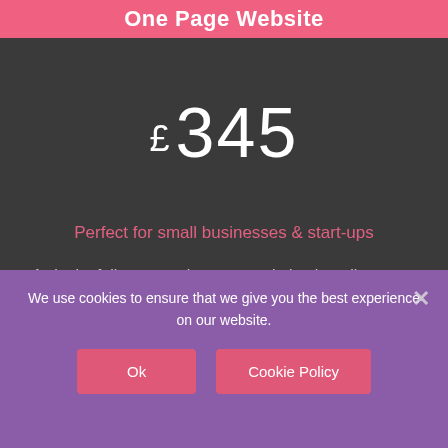One Page Website
£ 345
Perfect for small businesses & start-ups
A single, fully responsive page website that allows you to tell the world who you are & what you do. A modern way to get your business on the web.
We use cookies to ensure that we give you the best experience on our website.
Ok
Cookie Policy